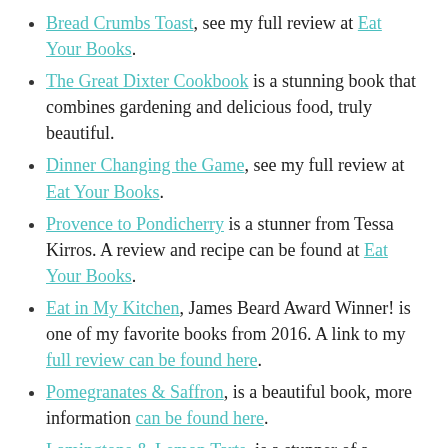Bread Crumbs Toast, see my full review at Eat Your Books.
The Great Dixter Cookbook is a stunning book that combines gardening and delicious food, truly beautiful.
Dinner Changing the Game, see my full review at Eat Your Books.
Provence to Pondicherry is a stunner from Tessa Kirros. A review and recipe can be found at Eat Your Books.
Eat in My Kitchen, James Beard Award Winner! is one of my favorite books from 2016. A link to my full review can be found here.
Pomegranates & Saffron, is a beautiful book, more information can be found here.
Lamingtons & Lemon Tarts, is a stunner of a dessert